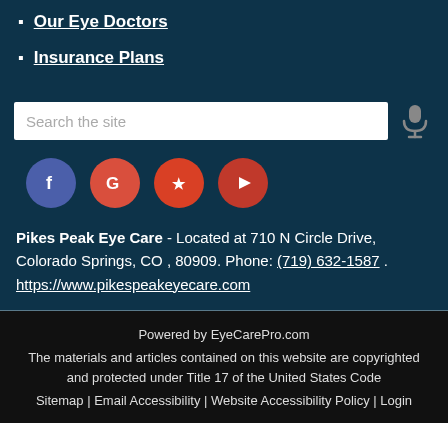Our Eye Doctors
Insurance Plans
[Figure (other): Search bar with microphone icon]
[Figure (other): Social media icons: Facebook, Google, Yelp, YouTube]
Pikes Peak Eye Care - Located at 710 N Circle Drive, Colorado Springs, CO , 80909. Phone: (719) 632-1587 . https://www.pikespeakeyecare.com
Powered by EyeCarePro.com
The materials and articles contained on this website are copyrighted and protected under Title 17 of the United States Code
Sitemap | Email Accessibility | Website Accessibility Policy | Login